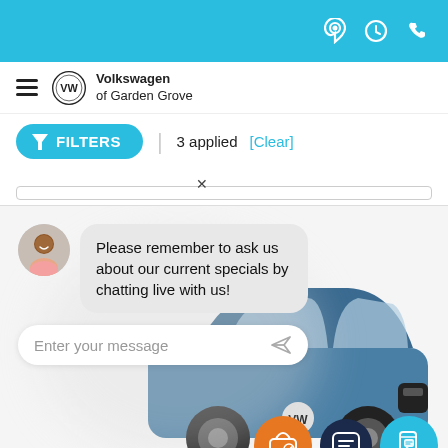Top navigation bar with location, hours, and phone icons
[Figure (logo): Volkswagen of Garden Grove dealership logo and name in navigation bar]
FILTERS | 3 applied [Clear]
[Figure (screenshot): Volkswagen dealership website screenshot showing a live chat widget overlay on a blue SUV car image, with chat message 'Please remember to ask us about our current specials by chatting live with us!', an input field 'Enter your message', and three action buttons (car check, chat, mobile chat)]